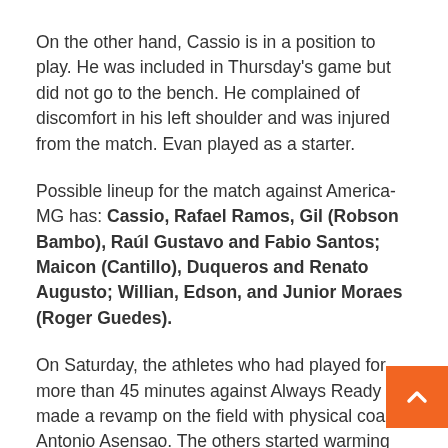On the other hand, Cassio is in a position to play. He was included in Thursday's game but did not go to the bench. He complained of discomfort in his left shoulder and was injured from the match. Evan played as a starter.
Possible lineup for the match against America-MG has: Cassio, Rafael Ramos, Gil (Robson Bambo), Raúl Gustavo and Fabio Santos; Maicon (Cantillo), Duqueros and Renato Augusto; Willian, Edson, and Junior Moraes (Roger Guedes).
On Saturday, the athletes who had played for more than 45 minutes against Always Ready made a revamp on the field with physical coach Antonio Asensao. The others started warming up and then took part in ball possession training on a small court under